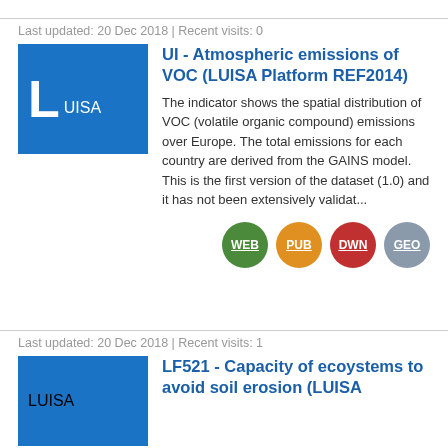Last updated: 20 Dec 2018 | Recent visits: 0
UI - Atmospheric emissions of VOC (LUISA Platform REF2014)
The indicator shows the spatial distribution of VOC (volatile organic compound) emissions over Europe. The total emissions for each country are derived from the GAINS model. This is the first version of the dataset (1.0) and it has not been extensively validat...
[Figure (infographic): Four circular badge icons: WEB (green), PUB (orange), DWN (red), GEO (gray)]
Last updated: 20 Dec 2018 | Recent visits: 1
LF521 - Capacity of ecoystems to avoid soil erosion (LUISA